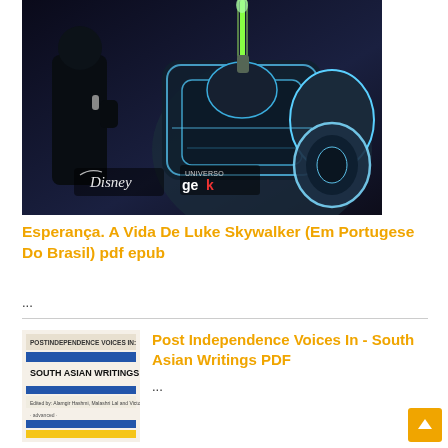[Figure (photo): Dark cinematic scene with two figures holding glowing lightsabers (green and blue/white), Disney and Universo Geek logos visible in the lower portion of the image.]
Esperança. A Vida De Luke Skywalker (Em Portugese Do Brasil) pdf epub
...
[Figure (photo): Book cover for 'Post Independence Voices In - South Asian Writings' with blue and yellow stripes and editorial text.]
Post Independence Voices In - South Asian Writings PDF
...